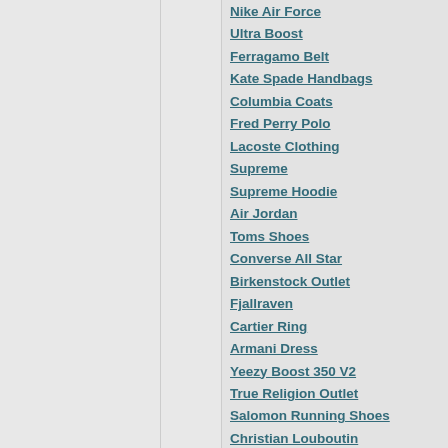Nike Air Force
Ultra Boost
Ferragamo Belt
Kate Spade Handbags
Columbia Coats
Fred Perry Polo
Lacoste Clothing
Supreme
Supreme Hoodie
Air Jordan
Toms Shoes
Converse All Star
Birkenstock Outlet
Fjallraven
Cartier Ring
Armani Dress
Yeezy Boost 350 V2
True Religion Outlet
Salomon Running Shoes
Christian Louboutin
Yeezy Shoes
Birkenstock
Off White Sneakers
Michael Kors Handbags
Burberry Handbags
Golden Goose Sneakers Sale
Calvin Klein Shoes
Adidas Clothing
Asics Outlet
Keds Slip Ons
Tory Burch Bags
New Jordans
Balenciaga Shoes
Skechers Go Walk
Pandora Charms
Ralph Lauren Dresses
Nike Factory
Tory Burch Hoodie